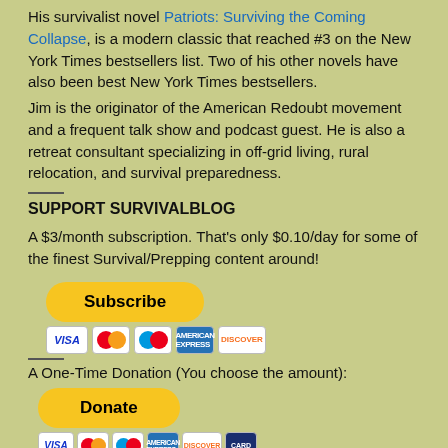His survivalist novel Patriots: Surviving the Coming Collapse, is a modern classic that reached #3 on the New York Times bestsellers list. Two of his other novels have also been best New York Times bestsellers.
Jim is the originator of the American Redoubt movement and a frequent talk show and podcast guest. He is also a retreat consultant specializing in off-grid living, rural relocation, and survival preparedness.
SUPPORT SURVIVALBLOG
A $3/month subscription. That's only $0.10/day for some of the finest Survival/Prepping content around!
[Figure (other): Subscribe button (yellow/gold pill-shaped PayPal button) with payment card icons below: VISA, Mastercard, Maestro, American Express, Discover]
A One-Time Donation (You choose the amount):
[Figure (other): Donate button (yellow/gold pill-shaped PayPal button) with payment card icons below: VISA, Mastercard, Maestro, American Express, Discover, and one more card]